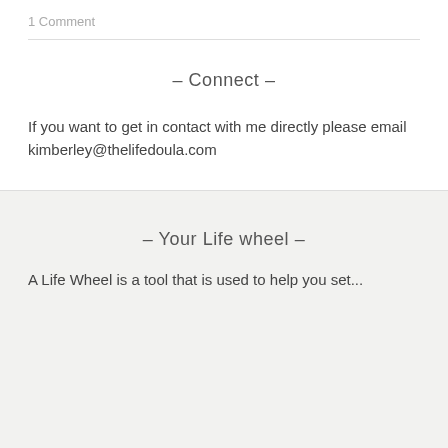1 Comment
– Connect –
If you want to get in contact with me directly please email kimberley@thelifedoula.com
– Your Life wheel –
A Life Wheel is a tool that is used to help you set...